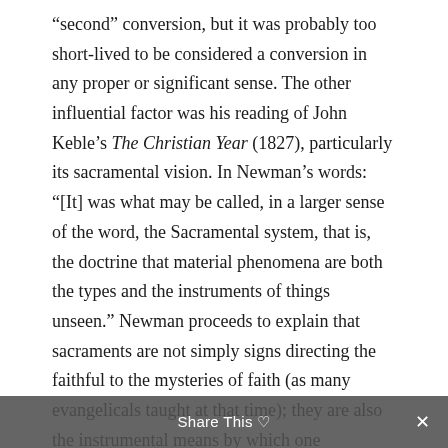“second” conversion, but it was probably too short-lived to be considered a conversion in any proper or significant sense. The other influential factor was his reading of John Keble’s The Christian Year (1827), particularly its sacramental vision. In Newman’s words: “[It] was what may be called, in a larger sense of the word, the Sacramental system, that is, the doctrine that material phenomena are both the types and the instruments of things unseen.” Newman proceeds to explain that sacraments are not simply signs directing the faithful to the mysteries of faith (as many evangelicals taught at that time); they are also the instrumental means by which one encounters them.
Newman’s eventual movement into the Roman Catholic Church in 1845, his “third” conversion by
Share This ♥ ×